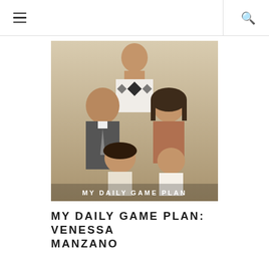☰  🔍
[Figure (photo): Family portrait photo showing a man, woman, and three children posed together in a warm-toned sepia/vintage style. The text 'MY DAILY GAME PLAN' appears overlaid at the bottom of the photo.]
MY DAILY GAME PLAN: VENESSA MANZANO